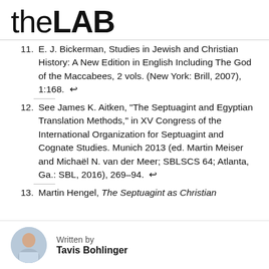theLAB
11. E. J. Bickerman, Studies in Jewish and Christian History: A New Edition in English Including The God of the Maccabees, 2 vols. (New York: Brill, 2007), 1:168. ↩
12. See James K. Aitken, "The Septuagint and Egyptian Translation Methods," in XV Congress of the International Organization for Septuagint and Cognate Studies. Munich 2013 (ed. Martin Meiser and Michaël N. van der Meer; SBLSCS 64; Atlanta, Ga.: SBL, 2016), 269–94. ↩
13. Martin Hengel, The Septuagint as Christian
Written by
Tavis Bohlinger